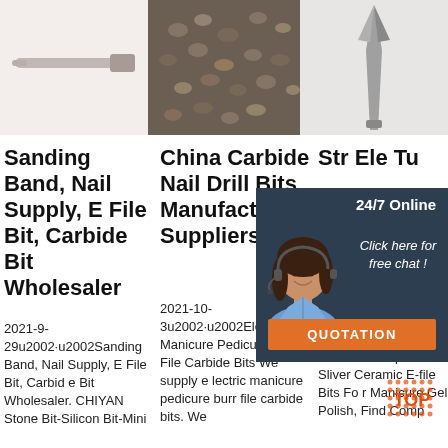[Figure (photo): Three product images in a row: left - pale pink/white surface with a nail file/tool, center - dark metal carbide drill bits scattered on surface, right - gray nail drill bit tool on white background]
Sanding Band, Nail Supply, E File Bit, Carbide Bit Wholesaler
China Carbide Nail Drill Bits Manufacturers, Suppliers ...
Str... Ele... Tu... Ca... Dri...
2021-9-29u2002·u2002Sanding Band, Nail Supply, E File Bit, Carbide Bit Wholesaler. CHIYAN Stone Bit-Silicon Bit-Mini
2021-10-3u2002·u2002Electric Manicure Pedicure Burr File Carbide Bits We supply electric manicure pedicure burr file carbide bits. We
Stro... 5 In... Ca... Bits 3/32' Purple Gold Sliver Ceramic E-file Bits Fo r Manicure Gel Polish, Find Comp
[Figure (other): Chat widget overlay with dark navy background showing '24/7 Online', a female customer service agent photo, 'Click here for free chat!' text in italic, and an orange QUOTATION button]
[Figure (other): Orange and red TOP button with dot pattern in bottom right]